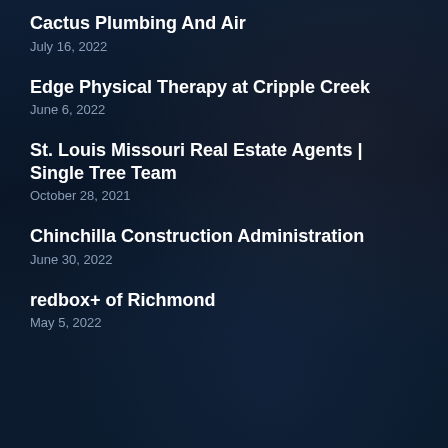Cactus Plumbing And Air
July 16, 2022
Edge Physical Therapy at Cripple Creek
June 6, 2022
St. Louis Missouri Real Estate Agents | Single Tree Team
October 28, 2021
Chinchilla Construction Administration
June 30, 2022
redbox+ of Richmond
May 5, 2022